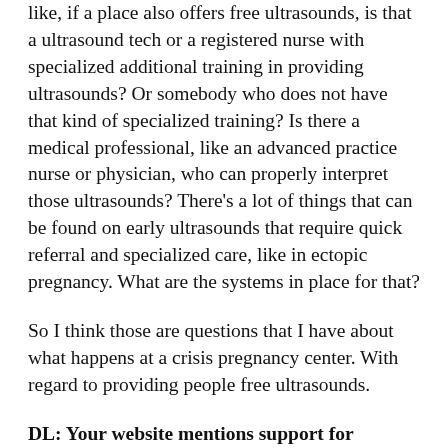like, if a place also offers free ultrasounds, is that a ultrasound tech or a registered nurse with specialized additional training in providing ultrasounds? Or somebody who does not have that kind of specialized training? Is there a medical professional, like an advanced practice nurse or physician, who can properly interpret those ultrasounds? There's a lot of things that can be found on early ultrasounds that require quick referral and specialized care, like in ectopic pregnancy. What are the systems in place for that?
So I think those are questions that I have about what happens at a crisis pregnancy center. With regard to providing people free ultrasounds.
DL: Your website mentions support for reproductive justice for Black lives. Can you talk a bit more about that aspect of the work.